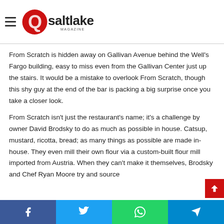Q Salt Lake Magazine
From Scratch is hidden away on Gallivan Avenue behind the Well's Fargo building, easy to miss even from the Gallivan Center just up the stairs. It would be a mistake to overlook From Scratch, though this shy guy at the end of the bar is packing a big surprise once you take a closer look.
From Scratch isn't just the restaurant's name; it's a challenge by owner David Brodsky to do as much as possible in house. Catsup, mustard, ricotta, bread; as many things as possible are made in-house. They even mill their own flour via a custom-built flour mill imported from Austria. When they can't make it themselves, Brodsky and Chef Ryan Moore try and source